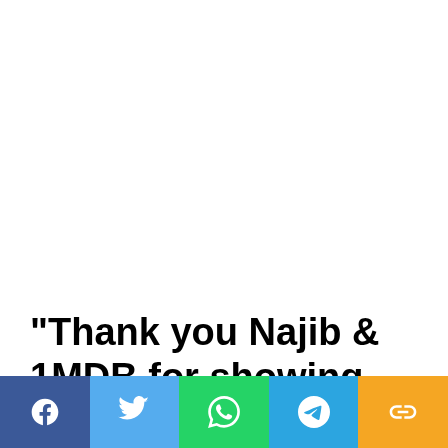“Thank you Najib & 1MDB for showing the world that Malaysia is
[Figure (infographic): Social media share bar with Facebook (blue), Twitter (light blue), WhatsApp (green), Telegram (blue), and link/copy (yellow/orange) icon buttons across the bottom of the page]